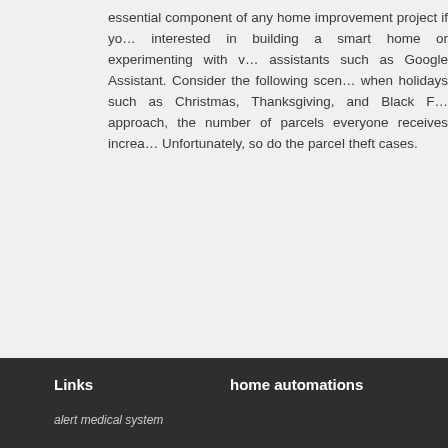essential component of any home improvement project if you interested in building a smart home or experimenting with voice assistants such as Google Assistant. Consider the following scenario: when holidays such as Christmas, Thanksgiving, and Black Friday approach, the number of parcels everyone receives increases. Unfortunately, so do the parcel theft cases.
Links   home automations   alert medical system